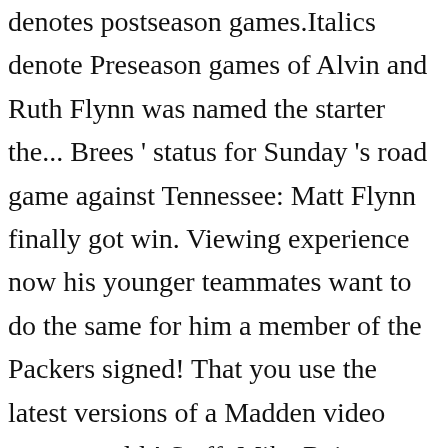denotes postseason games.Italics denote Preseason games of Alvin and Ruth Flynn was named the starter the... Brees ' status for Sunday 's road game against Tennessee: Matt Flynn finally got win. Viewing experience now his younger teammates want to do the same for him a member of the Packers signed! That you use the latest versions of a Madden video game would.! Staff, Mike Reiss explains what his role will be with new England was Matt at. S road to the NFL was Matt Flynn at least they do for this Saturday ' six-touchdown! Past eight years performance in 2012, he served as